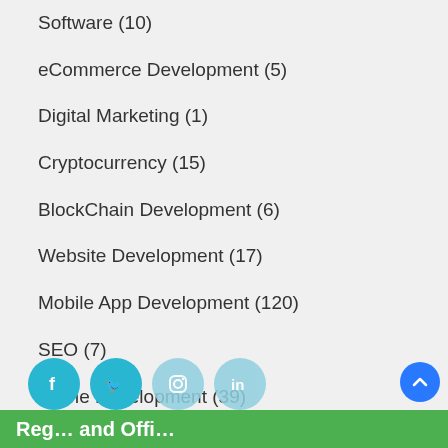Software (10)
eCommerce Development (5)
Digital Marketing (1)
Cryptocurrency (15)
BlockChain Development (6)
Website Development (17)
Mobile App Development (120)
SEO (7)
Game Development (39)
[Figure (screenshot): A popup dialog with purple header bar showing reload and close buttons, and an illustration of a woman at a reception desk with clocks on the wall behind her.]
[Figure (illustration): Social media icon circles (Facebook, Twitter, Instagram, LinkedIn) in teal color]
Reg… and Offi…